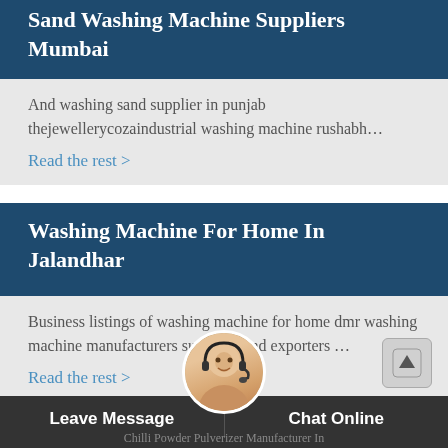Sand Washing Machine Suppliers Mumbai
And washing sand supplier in punjab thejewellerycozaindustrial washing machine rushabh…
Read the rest >
Washing Machine For Home In Jalandhar
Business listings of washing machine for home dmr washing machine manufacturers suppliers and exporters …
Read the rest >
Leave Message   Chat Online   Chilli Powder Pulverizer Manufacturer In